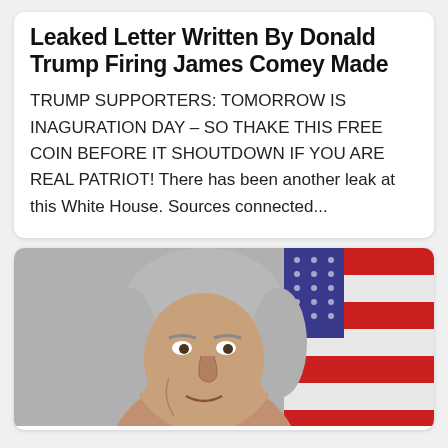Leaked Letter Written By Donald Trump Firing James Comey Made
TRUMP SUPPORTERS: TOMORROW IS INAGURATION DAY – SO THAKE THIS FREE COIN BEFORE IT SHOUTDOWN IF YOU ARE REAL PATRIOT! There has been another leak at this White House. Sources connected...
[Figure (photo): Photo of an older white-haired man in front of an American flag background with stars and red/white stripes visible]